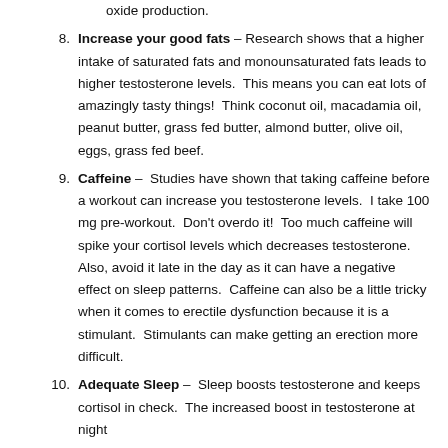oxide production.
8. Increase your good fats – Research shows that a higher intake of saturated fats and monounsaturated fats leads to higher testosterone levels. This means you can eat lots of amazingly tasty things! Think coconut oil, macadamia oil, peanut butter, grass fed butter, almond butter, olive oil, eggs, grass fed beef.
9. Caffeine – Studies have shown that taking caffeine before a workout can increase you testosterone levels. I take 100 mg pre-workout. Don't overdo it! Too much caffeine will spike your cortisol levels which decreases testosterone. Also, avoid it late in the day as it can have a negative effect on sleep patterns. Caffeine can also be a little tricky when it comes to erectile dysfunction because it is a stimulant. Stimulants can make getting an erection more difficult.
10. Adequate Sleep – Sleep boosts testosterone and keeps cortisol in check. The increased boost in testosterone at night